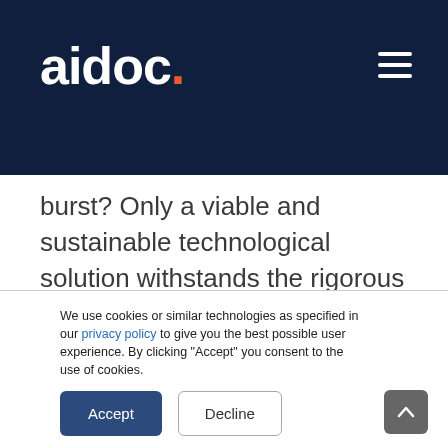aidoc.
burst? Only a viable and sustainable technological solution withstands the rigorous obstacles to becoming mainstream, and imaging AI is most definitely up to the task. In a 3-part blog series, we will be focusing on the tangible advantages of adopting AI in your Department of Radiology. Our
We use cookies or similar technologies as specified in our privacy policy to give you the best possible user experience. By clicking “Accept” you consent to the use of cookies.